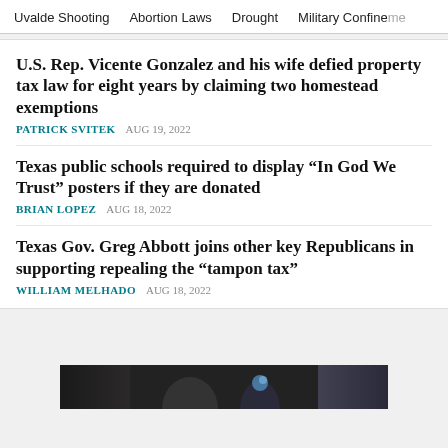Uvalde Shooting   Abortion Laws   Drought   Military Confinement
U.S. Rep. Vicente Gonzalez and his wife defied property tax law for eight years by claiming two homestead exemptions
PATRICK SVITEK   AUG 19, 2022
Texas public schools required to display “In God We Trust” posters if they are donated
BRIAN LOPEZ   AUG 18, 2022
Texas Gov. Greg Abbott joins other key Republicans in supporting repealing the “tampon tax”
WILLIAM MELHADO   AUG 18, 2022
[Figure (photo): Partial photo visible at bottom of page, dark background with two figures]